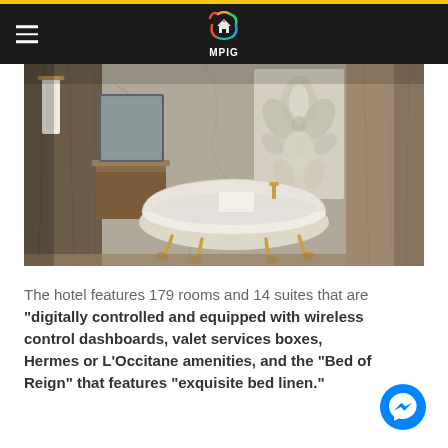MPIG
[Figure (photo): Luxury hotel bathroom with a freestanding clawfoot bathtub with gold feet, ornate floral mosaic wall art, marble-like walls, a wooden vanity with mirror, and a white towel draped over the tub. Warm lighting and elegant decor.]
The hotel features 179 rooms and 14 suites that are “digitally controlled and equipped with wireless control dashboards, valet services boxes, Hermes or L’Occitane amenities, and the “Bed of Reign” that features “exquisite bed linen.”